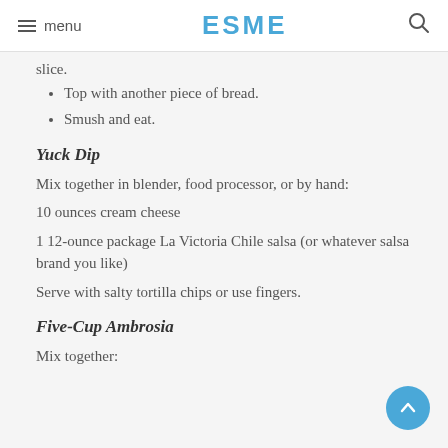menu  ESME  [search]
slice.
Top with another piece of bread.
Smush and eat.
Yuck Dip
Mix together in blender, food processor, or by hand:
10 ounces cream cheese
1 12-ounce package La Victoria Chile salsa (or whatever salsa brand you like)
Serve with salty tortilla chips or use fingers.
Five-Cup Ambrosia
Mix together: